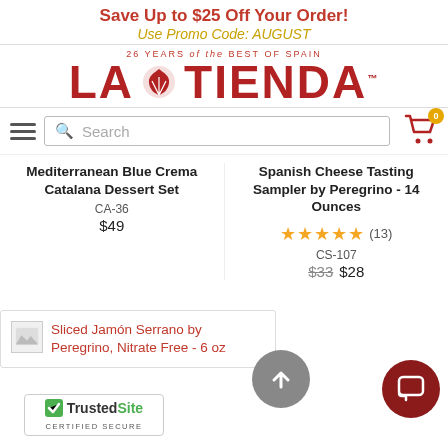Save Up to $25 Off Your Order!
Use Promo Code: AUGUST
[Figure (logo): La Tienda logo with tagline '26 YEARS of the BEST OF SPAIN' and shell icon]
Search
Mediterranean Blue Crema Catalana Dessert Set
CA-36
$49
Spanish Cheese Tasting Sampler by Peregrino - 14 Ounces
(13)
CS-107
$33  $28
Sliced Jamón Serrano by Peregrino, Nitrate Free - 6 oz
TrustedSite CERTIFIED SECURE